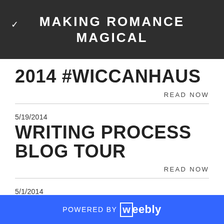MAKING ROMANCE MAGICAL
2014 #WICCANHAUS
READ NOW
5/19/2014
WRITING PROCESS BLOG TOUR
READ NOW
5/1/2014
POWERED BY weebly